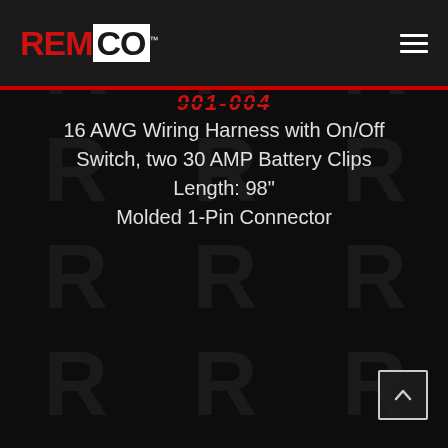REMCO
901-004
16 AWG Wiring Harness with On/Off Switch, two 30 AMP Battery Clips Length: 98" Molded 1-Pin Connector
[Figure (logo): REMCO logo in red and white with trademark symbol]